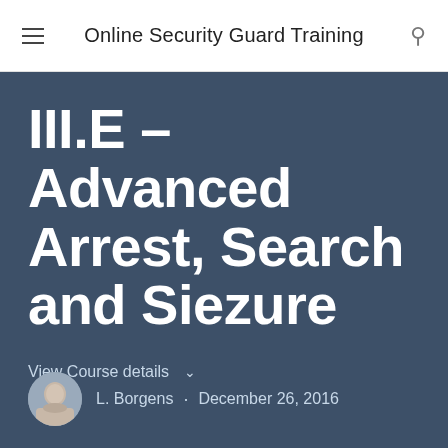Online Security Guard Training
III.E – Advanced Arrest, Search and Siezure
View Course details ∨
L. Borgens · December 26, 2016